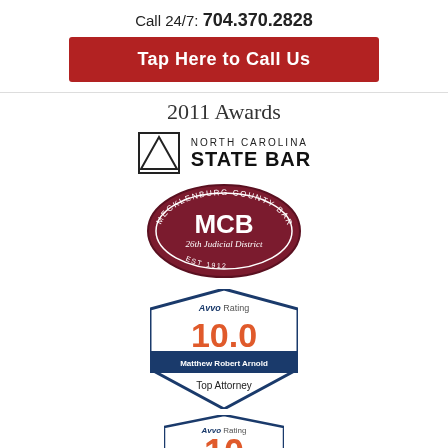Call 24/7: 704.370.2828
Tap Here to Call Us
2011 Awards
[Figure (logo): North Carolina State Bar logo with triangle and text]
[Figure (logo): Mecklenburg County Bar (MCB) 26th Judicial District EST 1912 oval seal]
[Figure (logo): Avvo Rating 10.0 Matthew Robert Arnold Top Attorney badge]
[Figure (logo): Avvo Rating badge (partially visible at bottom)]